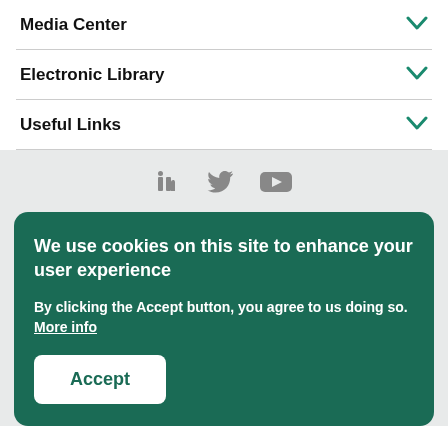Media Center
Electronic Library
Useful Links
[Figure (other): Social media icons: LinkedIn, Twitter, YouTube]
We use cookies on this site to enhance your user experience
By clicking the Accept button, you agree to us doing so. More info
Accept